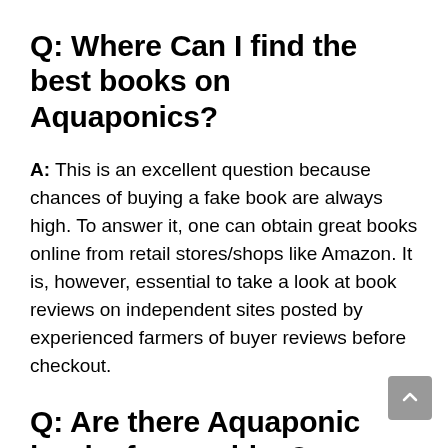Q: Where Can I find the best books on Aquaponics?
A: This is an excellent question because chances of buying a fake book are always high. To answer it, one can obtain great books online from retail stores/shops like Amazon. It is, however, essential to take a look at book reviews on independent sites posted by experienced farmers of buyer reviews before checkout.
Q: Are there Aquaponic books for newbies?